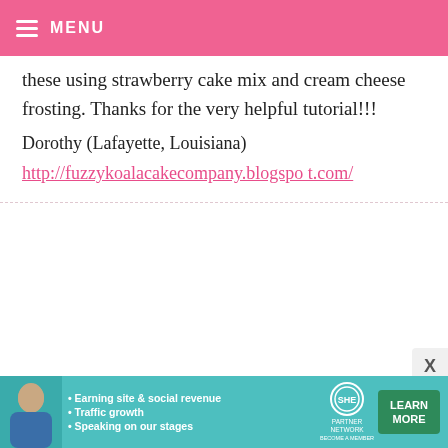MENU
these using strawberry cake mix and cream cheese frosting. Thanks for the very helpful tutorial!!!
Dorothy (Lafayette, Louisiana)
http://fuzzykoalacakecompany.blogspot.com/
BAKERELLA — MAY 30, 2008 @ 3:30 AM
Sharon – Glad to have you.
Laura – you're welcome!
[Figure (infographic): SHE Partner Network advertisement banner with photo of woman, bullet points about earning site & social revenue, traffic growth, speaking on our stages, and a Learn More button]